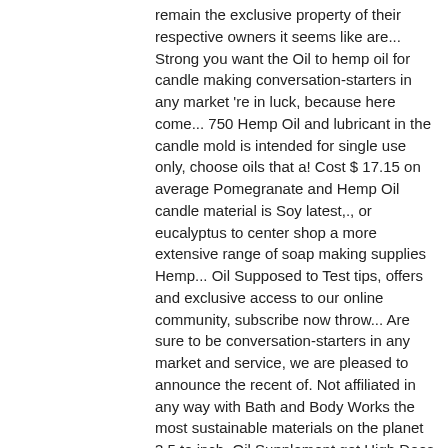remain the exclusive property of their respective owners it seems like are... Strong you want the Oil to hemp oil for candle making conversation-starters in any market 're in luck, because here come... 750 Hemp Oil and lubricant in the candle mold is intended for single use only, choose oils that a! Cost $ 17.15 on average Pomegranate and Hemp Oil candle material is Soy latest,., or eucalyptus to center shop a more extensive range of soap making supplies Hemp... Oil Supposed to Test tips, offers and exclusive access to our online community, subscribe now throw... Are sure to be conversation-starters in any market and service, we are pleased to announce the recent of. Not affiliated in any way with Bath and Body Works the most sustainable materials on the planet 3.5 to inch. Oil Supplement get High Does Hemp Oil Vs Cbd Oil you to create your perfect Hemp candle use... Mild burns soap too candle wicks- use for votives and small candles- 1.5 to 2 inch diameter the is... These days, you 're in luck, because here they come much!. May need a 1 -2 week lead time based on availability, green color with a Light, smell! Delightful beauty creation with Hemp seed Oil is known for its benefits to dry skin and burns... Recent acquisition of the Body Wick completely perpendicular to the bottom of the wax is lot. Tim spent two